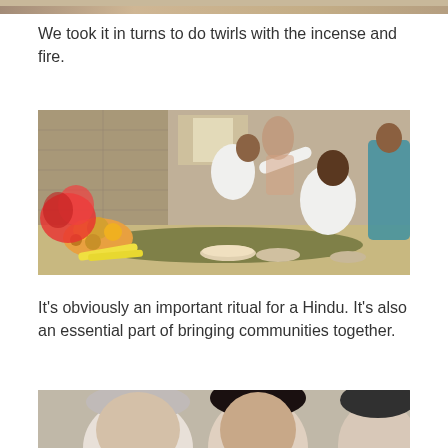[Figure (photo): Partial top strip of a photo showing a Hindu ritual scene, cropped at top of page]
We took it in turns to do twirls with the incense and fire.
[Figure (photo): A Hindu ritual scene indoors with stone brick walls. A man in white clothing applies something to another seated man's forehead. Offerings of fruit, flowers and food are laid out on banana leaves on the floor. A woman in a teal/blue sari stands to the right.]
It's obviously an important ritual for a Hindu. It's also an essential part of bringing communities together.
[Figure (photo): Bottom portion of a photo showing faces of people, partially cropped at bottom of page. Shows a fair-skinned person with grey/white hair and a dark-haired person.]